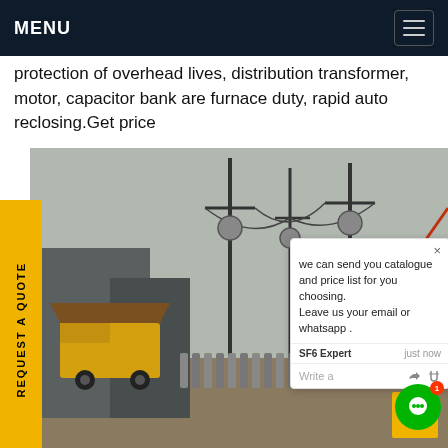MENU
protection of overhead lives, distribution transformer, motor, capacitor bank are furnace duty, rapid auto reclosing.Get price
[Figure (photo): Outdoor electrical substation with SF6 gas recovery equipment truck, yellow service vehicle, high-voltage transmission towers and insulators, gas cylinders, and a crane in background]
REQUEST A QUOTE
we can send you catalogue and price list for you choosing.
Leave us your email or whatsapp .
SF6 Expert   just now
Write a